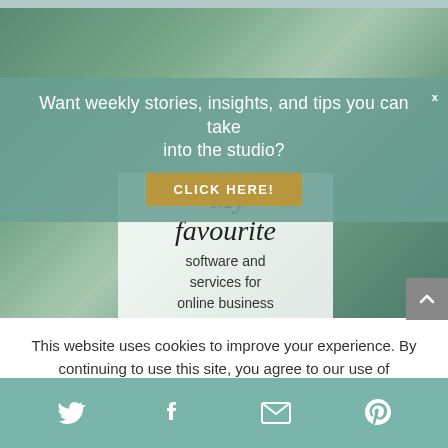[Figure (photo): Web page screenshot showing a teal/green overlay banner asking visitors to subscribe, a 'CLICK HERE!' button, and a photo of art supplies/studio with a white card overlay reading 'My favourite software and services for online business']
Want weekly stories, insights, and tips you can take into the studio?
CLICK HERE!
'My favourite software and services for online business
This website uses cookies to improve your experience. By continuing to use this site, you agree to our use of
[Figure (infographic): Social media share bar with Twitter, Facebook, Email, and Pinterest icons on teal background]